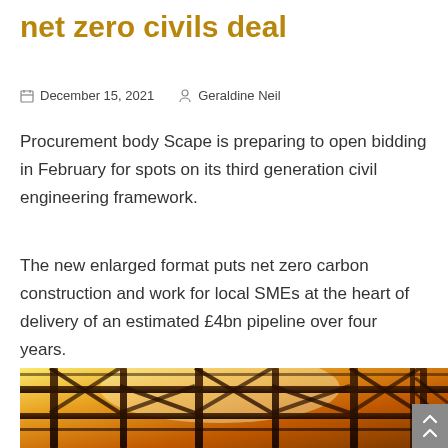net zero civils deal
December 15, 2021   Geraldine Neil
Procurement body Scape is preparing to open bidding in February for spots on its third generation civil engineering framework.
The new enlarged format puts net zero carbon construction and work for local SMEs at the heart of delivery of an estimated £4bn pipeline over four years.
[Figure (photo): Photo of steel construction framework structure with warm golden/amber backlight, architectural steel beams and scaffolding viewed from below against sunlit background]